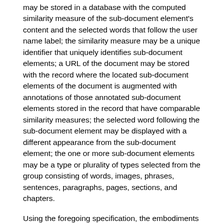may be stored in a database with the computed similarity measure of the sub-document element's content and the selected words that follow the user name label; the similarity measure may be a unique identifier that uniquely identifies sub-document elements; a URL of the document may be stored with the record where the located sub-document elements of the document is augmented with annotations of those annotated sub-document elements stored in the record that have comparable similarity measures; the selected word following the sub-document element may be displayed with a different appearance from the sub-document element; the one or more sub-document elements may be a type or plurality of types selected from the group consisting of words, images, phrases, sentences, paragraphs, pages, sections, and chapters.
Using the foregoing specification, the embodiments disclosed herein may be implemented as a machine (or system), process (or method), or article of manufacture by using standard programming and/or engineering techniques to produce programming software, firmware, hardware, or any combination thereof. It will be